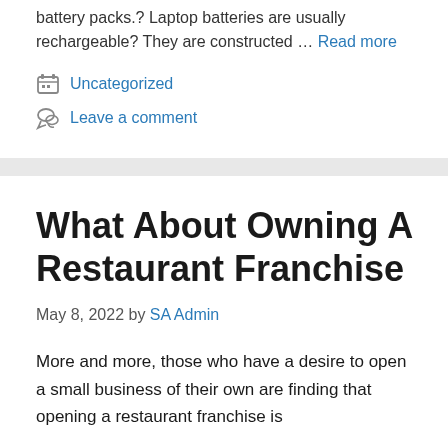battery packs.? Laptop batteries are usually rechargeable? They are constructed … Read more
Uncategorized
Leave a comment
What About Owning A Restaurant Franchise
May 8, 2022 by SA Admin
More and more, those who have a desire to open a small business of their own are finding that opening a restaurant franchise is